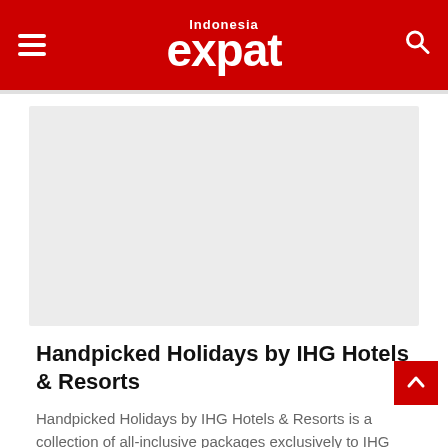Indonesia expat
[Figure (photo): Large gray placeholder image for article header photo]
Handpicked Holidays by IHG Hotels & Resorts
Handpicked Holidays by IHG Hotels & Resorts is a collection of all-inclusive packages exclusively to IHG